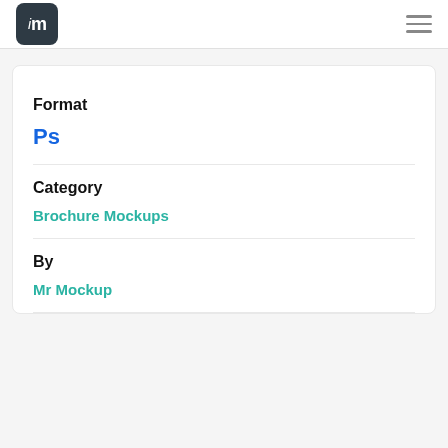[Figure (logo): Im mockup logo — dark rounded square with lowercase italic i and m letters in white]
[Figure (other): Hamburger menu icon with three horizontal lines]
Format
Ps
Category
Brochure Mockups
By
Mr Mockup